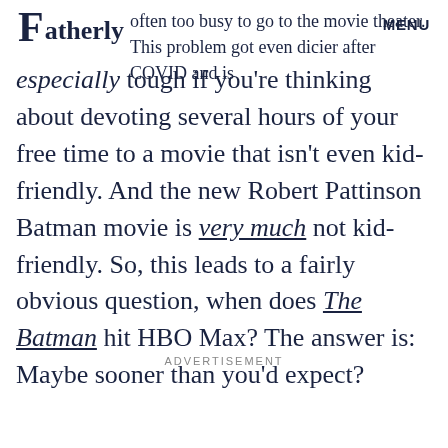Fatherly  MENU
often too busy to go to the movie theater. This problem got even dicier after COVID and is especially tough if you're thinking about devoting several hours of your free time to a movie that isn't even kid-friendly. And the new Robert Pattinson Batman movie is very much not kid-friendly. So, this leads to a fairly obvious question, when does The Batman hit HBO Max? The answer is: Maybe sooner than you'd expect?
ADVERTISEMENT